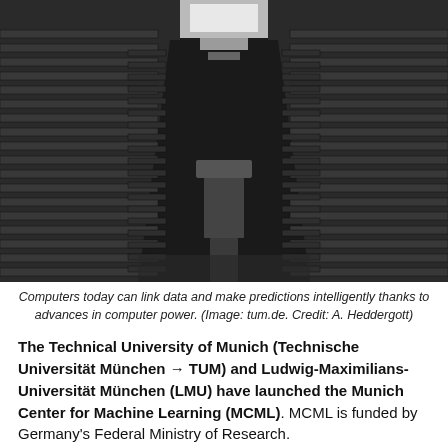[Figure (photo): Interior corridor of a large server room or data center, with tall racks of computer equipment on both sides and overhead lighting at the far end.]
Computers today can link data and make predictions intelligently thanks to advances in computer power. (Image: tum.de. Credit: A. Heddergott)
The Technical University of Munich (Technische Universität München → TUM) and Ludwig-Maximilians-Universität München (LMU) have launched the Munich Center for Machine Learning (MCML). MCML is funded by Germany's Federal Ministry of Research.
Artificial intelligence and machine learning are crucial